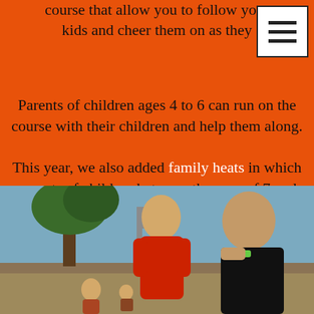course that allow you to follow your kids and cheer them on as they
Parents of children ages 4 to 6 can run on the course with their children and help them along.
This year, we also added family heats in which parents of children between the ages of 7 and 17 can do the Mud Run and get muddy with their kids!
[Figure (photo): Outdoor photo of two children, one in a red shirt and one in a black shirt, at what appears to be a mud run event. Trees and obstacles visible in background.]